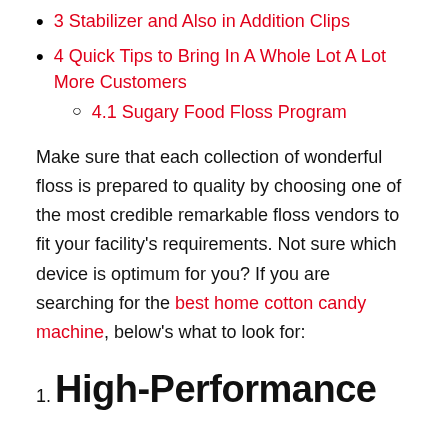3 Stabilizer and Also in Addition Clips
4 Quick Tips to Bring In A Whole Lot A Lot More Customers
4.1 Sugary Food Floss Program
Make sure that each collection of wonderful floss is prepared to quality by choosing one of the most credible remarkable floss vendors to fit your facility’s requirements. Not sure which device is optimum for you? If you are searching for the best home cotton candy machine, below’s what to look for:
1. High-Performance